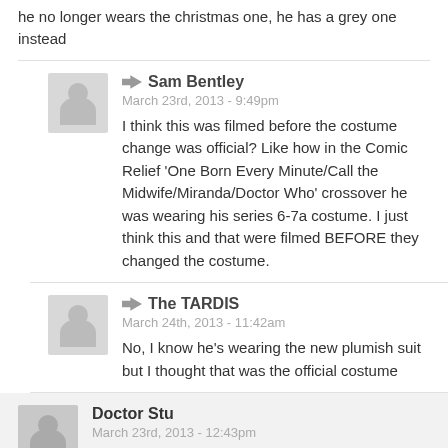he no longer wears the christmas one, he has a grey one instead
Sam Bentley
March 23rd, 2013 - 9:49pm
I think this was filmed before the costume change was official? Like how in the Comic Relief 'One Born Every Minute/Call the Midwife/Miranda/Doctor Who' crossover he was wearing his series 6-7a costume. I just think this and that were filmed BEFORE they changed the costume.
The TARDIS
March 24th, 2013 - 11:42am
No, I know he's wearing the new plumish suit but I thought that was the official costume
Doctor Stu
March 23rd, 2013 - 12:43pm
This has just got a lot more confusing. It would be so cool if Clara and her ancestors were also searching the universe for the Doctor and it all stemed from young Clara meeting the Doctor in the playground.